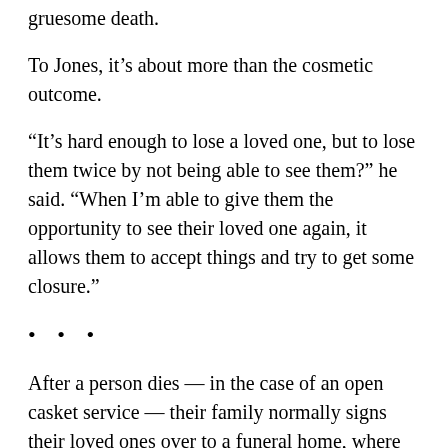gruesome death.
To Jones, it's about more than the cosmetic outcome.
“It’s hard enough to lose a loved one, but to lose them twice by not being able to see them?” he said. “When I’m able to give them the opportunity to see their loved one again, it allows them to accept things and try to get some closure.”
• • •
After a person dies — in the case of an open casket service — their family normally signs their loved ones over to a funeral home, where the body is embalmed, cleaned and clothed. Makeup is applied to correct skin discolorations caused by livor mortis, when the blood shifts to the areas of the body closest to the ground.